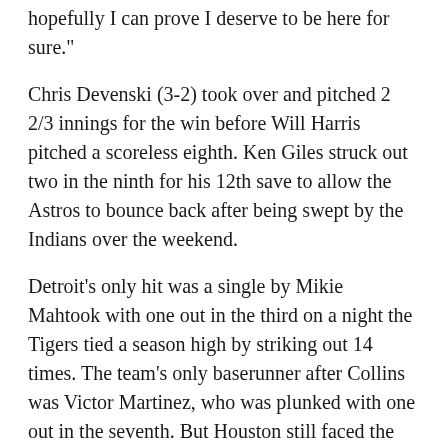hopefully I can prove I deserve to be here for sure."
Chris Devenski (3-2) took over and pitched 2 2/3 innings for the win before Will Harris pitched a scoreless eighth. Ken Giles struck out two in the ninth for his 12th save to allow the Astros to bounce back after being swept by the Indians over the weekend.
Detroit's only hit was a single by Mikie Mahtook with one out in the third on a night the Tigers tied a season high by striking out 14 times. The team's only baserunner after Collins was Victor Martinez, who was plunked with one out in the seventh. But Houston still faced the minimum in that inning when J.D. Martinez grounded into a double play to end the seventh.
Some wondered if fatigue may have been a factor in Detroit's struggles at the plate after the Tigers arrived